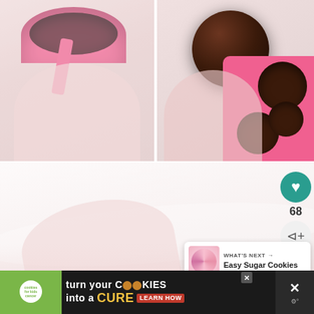[Figure (photo): Close-up of a gloved hand holding a pink ice cream scoop/cookie scoop tool filled with dark chocolate mixture]
[Figure (photo): Gloved hand holding a dark chocolate truffle ball near a pink silicone mold with multiple chocolate balls]
[Figure (photo): Blurred close-up of a gloved hand, bright white background, soft pink tones — process step photo for chocolate making]
[Figure (infographic): UI overlay showing heart/like button (teal circle with heart icon), count of 68, and share button]
[Figure (infographic): What's Next card showing Easy Sugar Cookies with pink frosted cookie thumbnail]
[Figure (infographic): Advertisement banner: cookies for kids cancer — turn your COOKIES into a CURE LEARN HOW]